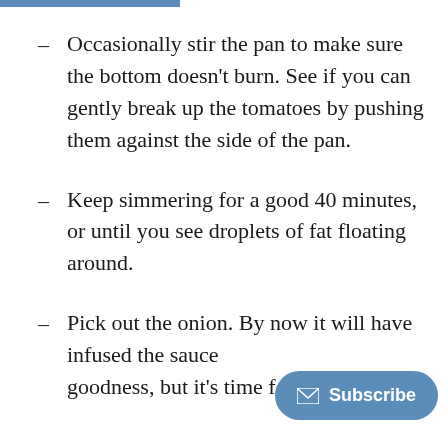Occasionally stir the pan to make sure the bottom doesn't burn. See if you can gently break up the tomatoes by pushing them against the side of the pan.
Keep simmering for a good 40 minutes, or until you see droplets of fat floating around.
Pick out the onion. By now it will have infused the sauce with its goodness, but it's time for it to